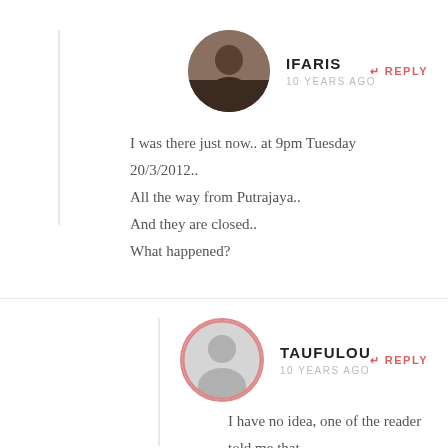IFARIS
10 YEARS AGO
REPLY
I was there just now.. at 9pm Tuesday 20/3/2012..
All the way from Putrajaya..
And they are closed..
What happened?
TAUFULOU
10 YEARS AGO
REPLY
I have no idea, one of the reader told me that they close on monday.